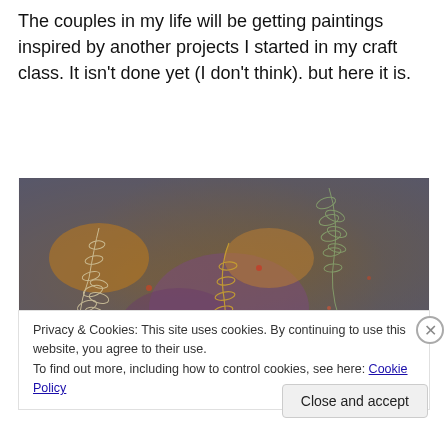The couples in my life will be getting paintings inspired by another projects I started in my craft class. It isn't done yet (I don't think). but here it is.
[Figure (illustration): A painting showing leaf/fern botanical motifs in earthy tones of brown, orange, gold, purple and blue-grey on textured canvas background.]
Privacy & Cookies: This site uses cookies. By continuing to use this website, you agree to their use.
To find out more, including how to control cookies, see here: Cookie Policy